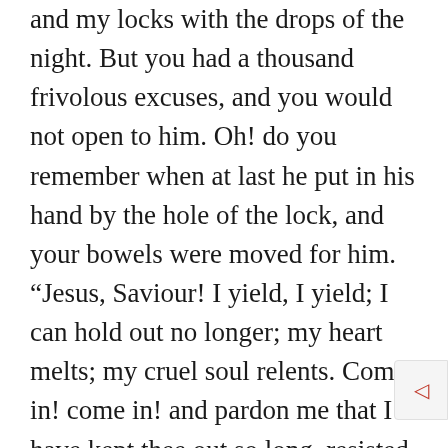and my locks with the drops of the night. But you had a thousand frivolous excuses, and you would not open to him. Oh! do you remember when at last he put in his hand by the hole of the lock, and your bowels were moved for him. “Jesus, Saviour! I yield, I yield; I can hold out no longer; my heart melts; my cruel soul relents. Come in! come in! and pardon me that I have kept thee out so long, resisted so long the wooings of thy heavenly love.” Well, you will say to night, and set your solemn hand and seal to it, that you are Christ’s because you do once again, voluntarily and freely,